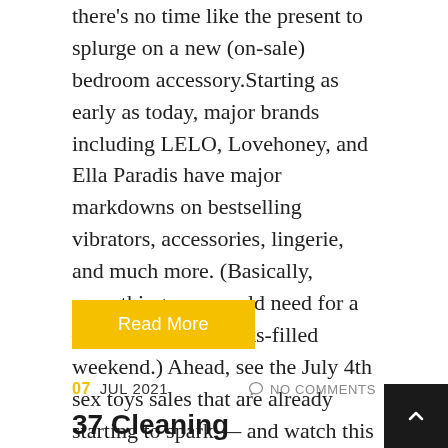there's no time like the present to splurge on a new (on-sale) bedroom accessory.Starting as early as today, major brands including LELO, Lovehoney, and Ella Paradis have major markdowns on bestselling vibrators, accessories, lingerie, and much more. (Basically, everything you would need for a — ahem — fireworks-filled weekend.) Ahead, see the July 4th sex toys sales that are already starting to spark — and watch this space for...
Read More
07 JUL 2021   NO COMMENTS
37 Cleaning Products Under $15 That'll Bring A Tear To Any Clean